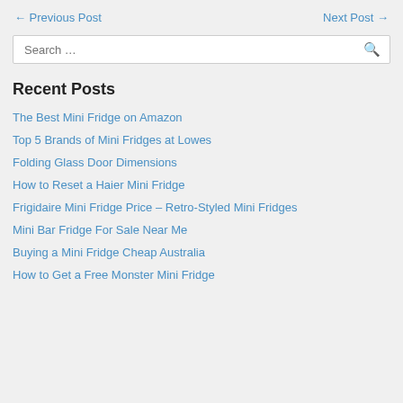← Previous Post    Next Post →
Search …
Recent Posts
The Best Mini Fridge on Amazon
Top 5 Brands of Mini Fridges at Lowes
Folding Glass Door Dimensions
How to Reset a Haier Mini Fridge
Frigidaire Mini Fridge Price – Retro-Styled Mini Fridges
Mini Bar Fridge For Sale Near Me
Buying a Mini Fridge Cheap Australia
How to Get a Free Monster Mini Fridge